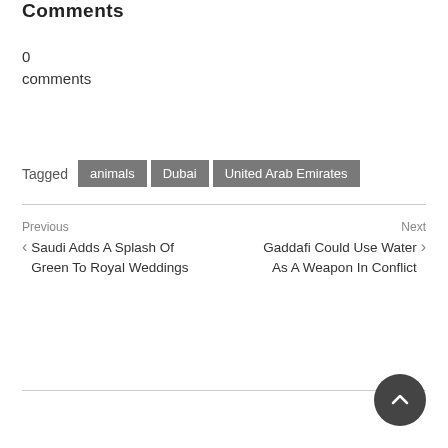Comments
0
comments
Tagged  animals  Dubai  United Arab Emirates
Previous
← Saudi Adds A Splash Of Green To Royal Weddings
Next
Gaddafi Could Use Water As A Weapon In Conflict →